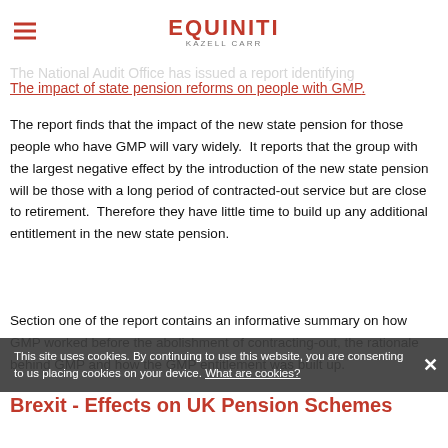EQUINITI KAZELL CARR
The National Audit Office has issued a report identifying The impact of state pension reforms on people with GMP.
The report finds that the impact of the new state pension for those people who have GMP will vary widely.  It reports that the group with the largest negative effect by the introduction of the new state pension will be those with a long period of contracted-out service but are close to retirement.  Therefore they have little time to build up any additional entitlement in the new state pension.
Section one of the report contains an informative summary on how GMP worked before the abolishment of contracting-out, the rationale behind GMP and how the GMP entitlement was built up.
This site uses cookies. By continuing to use this website, you are consenting to us placing cookies on your device. What are cookies?
Brexit - Effects on UK Pension Schemes